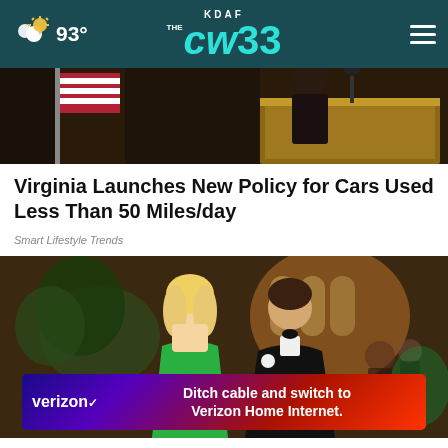KDAF CW33 — 93°
[Figure (photo): Top portion of a news photo showing what appears to be a podium scene with a wooden lectern and American flag visible]
Virginia Launches New Policy for Cars Used Less Than 50 Miles/day
Smart Lifestyle Trends
[Figure (photo): A couple dressed formally — woman in green strapless dress and man in black tuxedo with bow tie and white boutonniere — at what appears to be a gala or wedding reception]
Ditch cable and switch to Verizon Home Internet.